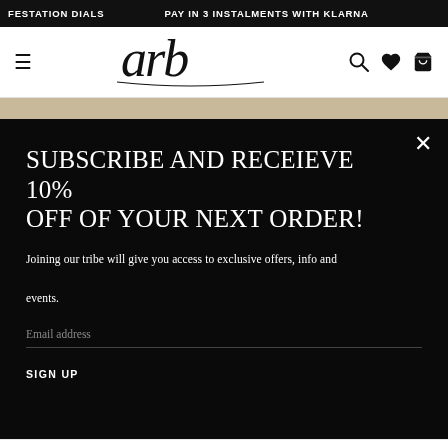FESTATION DIALS   PAY IN 3 INSTALMENTS WITH KLARNA
[Figure (logo): Cursive script logo reading 'arb' with navigation icons (hamburger menu, search, heart, bag)]
SUBSCRIBE AND RECEIEVE 10% OFF OF YOUR NEXT ORDER!
Joining our tribe will give you access to exclusive offers, info and events.
Email address
SIGN UP
Smokey Quartz &   PERSONALISED OPEN BAR